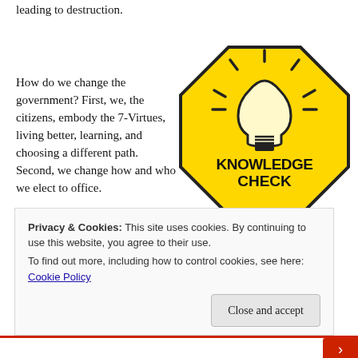leading to destruction.
How do we change the government? First, we, the citizens, embody the 7-Virtues, living better, learning, and choosing a different path.  Second, we change how and who we elect to office.
[Figure (illustration): Yellow octagon-shaped sign resembling a stop sign with a light bulb icon at the top and bold black text reading 'KNOWLEDGE CHECK' in the center.]
Third, we change the laws to protect our society
Privacy & Cookies: This site uses cookies. By continuing to use this website, you agree to their use.
To find out more, including how to control cookies, see here: Cookie Policy
Close and accept